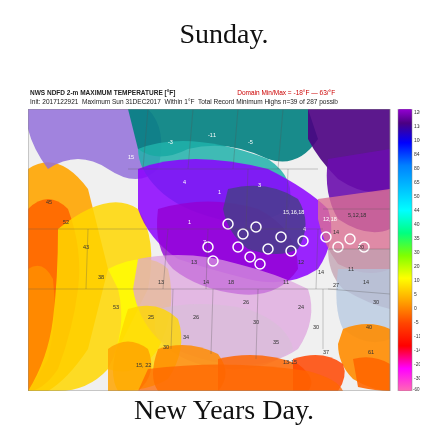Sunday.
[Figure (map): NWS NDFD 2-m Maximum Temperature map of the contiguous United States for Sunday, December 31, 2017 (New Years Eve/Day). Shows temperature gradient from very cold (-18°F and below, dark purple/blue) in the northern/central regions to warm (60°F+, orange/yellow/red) in Florida, southern Texas, and the Pacific coast. Includes a color bar legend on the right side ranging from -60 to 120°F. Header text: 'NWS NDFD 2-m MAXIMUM TEMPERATURE [°F] Init: 2017122921 Maximum Sun 31DEC2017 Within 1°F Total Record Minimum Highs n=39 of 287 possib' with red text 'Domain Min/Max = -18°F — 63/°F']
New Years Day.